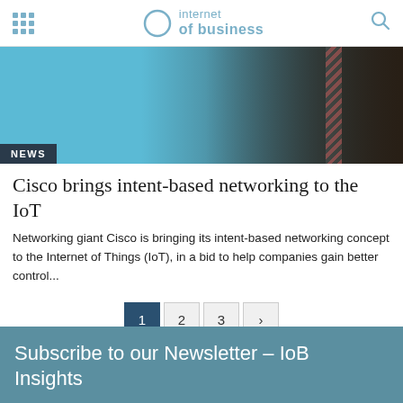internet of business
[Figure (photo): Hero image showing a person in a dark suit with a striped tie against a blue background, with a NEWS badge in the bottom-left corner.]
Cisco brings intent-based networking to the IoT
Networking giant Cisco is bringing its intent-based networking concept to the Internet of Things (IoT), in a bid to help companies gain better control...
1 2 3 >
Subscribe to our Newsletter – IoB Insights